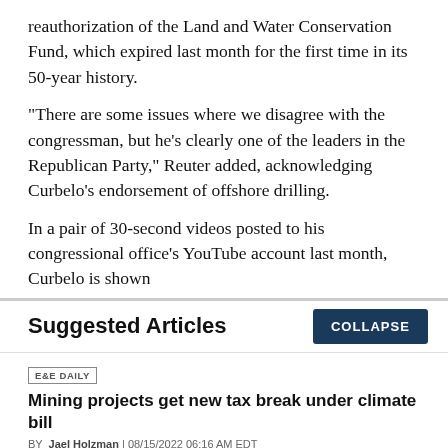reauthorization of the Land and Water Conservation Fund, which expired last month for the first time in its 50-year history.
"There are some issues where we disagree with the congressman, but he's clearly one of the leaders in the Republican Party," Reuter added, acknowledging Curbelo's endorsement of offshore drilling.
In a pair of 30-second videos posted to his congressional office's YouTube account last month, Curbelo is shown
Suggested Articles
COLLAPSE
E&E DAILY
Mining projects get new tax break under climate bill
BY Jael Holzman | 08/15/2022 06:16 AM EDT
Read More >>
E&E DAILY
'A lot more to do': Lawmakers eye additional climate action